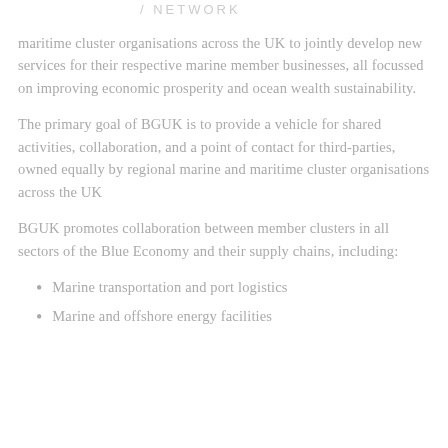/ NETWORK
maritime cluster organisations across the UK to jointly develop new services for their respective marine member businesses, all focussed on improving economic prosperity and ocean wealth sustainability.
The primary goal of BGUK is to provide a vehicle for shared activities, collaboration, and a point of contact for third-parties, owned equally by regional marine and maritime cluster organisations across the UK
BGUK promotes collaboration between member clusters in all sectors of the Blue Economy and their supply chains, including:
Marine transportation and port logistics
Marine and offshore energy facilities